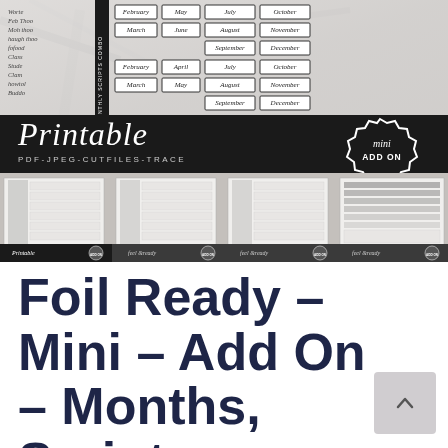[Figure (photo): Product listing image showing printable sticker sheets for planner months in script font. Top half shows marble background with handwritten-style month labels in boxes and a black banner reading 'Printable PDF-JPEG-CUTFILES-TRACE' with a 'mini ADD ON' badge. Bottom half shows four sheet preview thumbnails labeled 'Printable' and 'Foil Ready' with mini add on badges.]
Foil Ready – Mini – Add On – Months, Scripts